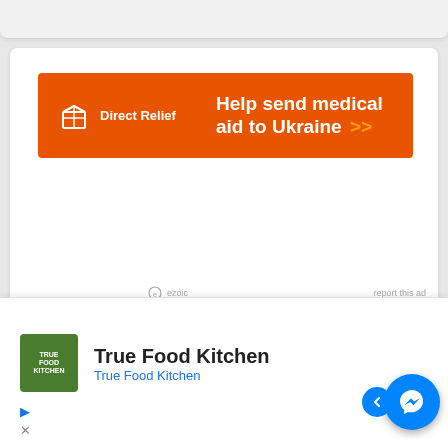[Figure (other): Direct Relief advertisement banner — orange background with Direct Relief logo and text 'Help send medical aid to Ukraine >>']
[Figure (other): True Food Kitchen advertisement with green logo and Facebook Messenger chat widget button]